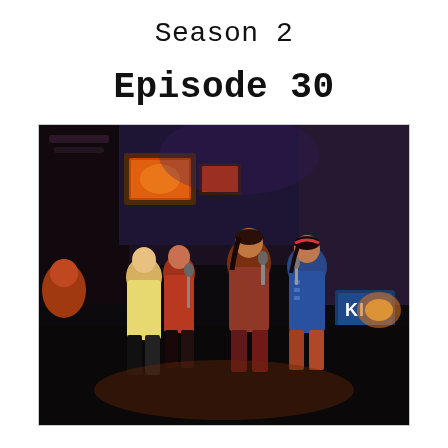Season 2
Episode 30
[Figure (photo): A group of children and young performers standing on a colorful TV show stage, holding microphones and singing. The set features bright lights, a monitor display, and colorful costumes typical of a late 1980s children's television program. Visible signage in the background partially reads 'KI'.]